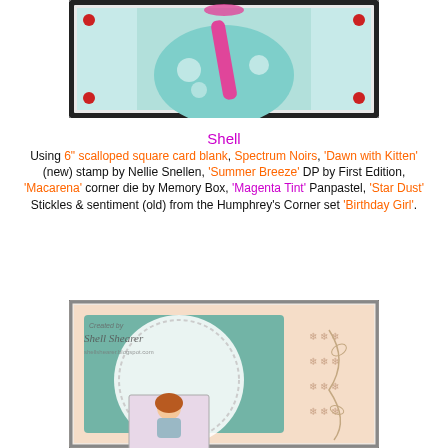[Figure (photo): Cropped photo of a handmade card showing a girl figure in teal dress with pink sash, decorative elements on black border with red gems.]
Shell
Using 6" scalloped square card blank, Spectrum Noirs, 'Dawn with Kitten' (new) stamp by Nellie Snellen, 'Summer Breeze' DP by First Edition, 'Macarena' corner die by Memory Box, 'Magenta Tint' Panpastel, 'Star Dust' Stickles & sentiment (old) from the Humphrey's Corner set 'Birthday Girl'.
[Figure (photo): Handmade greeting card with watermarked 'Shell Shearer shellshearer.blogspot.com', featuring a girl with auburn hair, teal doily mat, pink patterned background with snowflakes, and floral embossed border.]